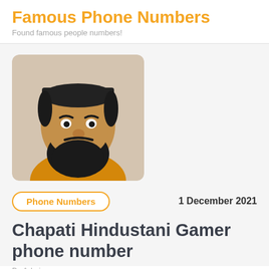Famous Phone Numbers
Found famous people numbers!
[Figure (photo): Photo of Chapati Hindustani Gamer — a bearded man with a black cap, smiling broadly, wearing a yellow shirt, selfie-style photo with rounded corners]
Phone Numbers
1 December 2021
Chapati Hindustani Gamer phone number
By Admin...